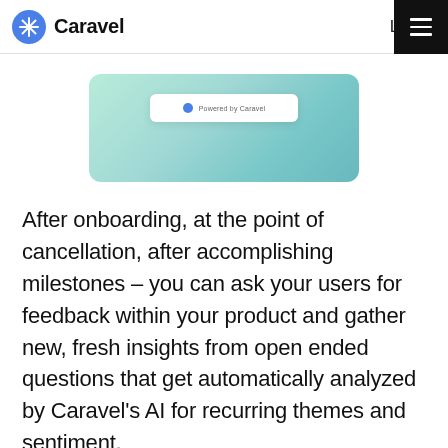Caravel   Log in
[Figure (screenshot): A screenshot preview card showing the Caravel product interface, displayed over a green-to-teal gradient rounded rectangle background.]
After onboarding, at the point of cancellation, after accomplishing milestones – you can ask your users for feedback within your product and gather new, fresh insights from open ended questions that get automatically analyzed by Caravel's AI for recurring themes and sentiment.